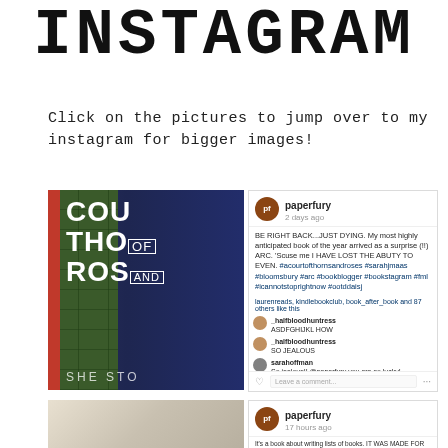INSTAGRAM
Click on the pictures to jump over to my instagram for bigger images!
[Figure (screenshot): Instagram post from user 'paperfury' showing a book cover of 'A Court of Thorns and Roses' leaning against a mossy brick wall, with comments from followers expressing jealousy about receiving an ARC.]
[Figure (screenshot): Instagram post from user 'paperfury' (17 hours ago) about a book about writing lists of books.]